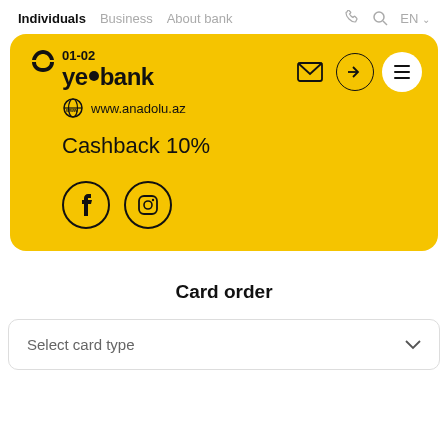Individuals | Business | About bank | EN
[Figure (screenshot): Yelo Bank yellow promotional card showing date 01-02, yelo bank logo, www.anadolu.az website, Cashback 10%, email icon, login icon, menu icon, and social media icons (Facebook, Instagram)]
Card order
Select card type